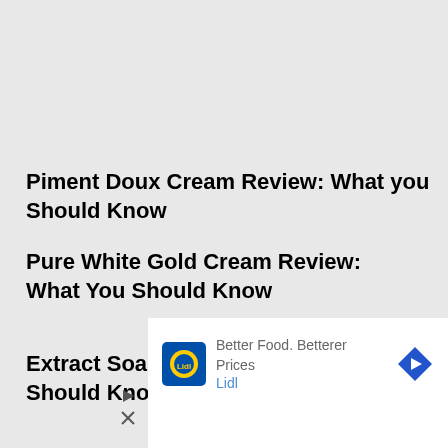Piment Doux Cream Review: What you Should Know
Pure White Gold Cream Review: What You Should Know
Extract Soap Review: What You Should Know
[Figure (other): Lidl advertisement banner with Lidl logo, navigation arrow icon, text 'Better Food. Betterer Prices' and 'Lidl', with play and close buttons on the left side]